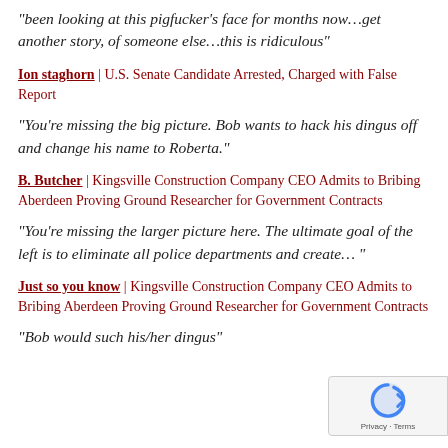“been looking at this pigfucker’s face for months now…get another story, of someone else…this is ridiculous”
Ion staghorn | U.S. Senate Candidate Arrested, Charged with False Report
“You’re missing the big picture. Bob wants to hack his dingus off and change his name to Roberta.”
B. Butcher | Kingsville Construction Company CEO Admits to Bribing Aberdeen Proving Ground Researcher for Government Contracts
“You’re missing the larger picture here. The ultimate goal of the left is to eliminate all police departments and create… ”
Just so you know | Kingsville Construction Company CEO Admits to Bribing Aberdeen Proving Ground Researcher for Government Contracts
“Bob would such his/her dingus”